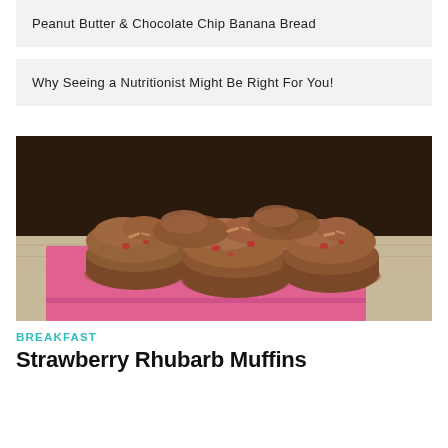Peanut Butter & Chocolate Chip Banana Bread
Why Seeing a Nutritionist Might Be Right For You!
[Figure (photo): Several strawberry rhubarb muffins on a pink cloth napkin on a wooden surface, dark background]
BREAKFAST
Strawberry Rhubarb Muffins